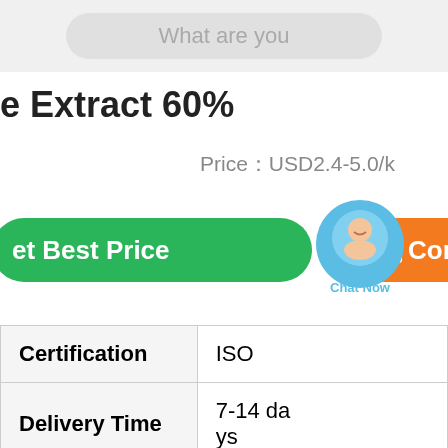What are you looking for...
e Extract 60%
Price：USD2.4-5.0/k
Get Best Price
Chat Now
Contact
|  |  |
| --- | --- |
| Certification | ISO |
| Delivery Time | 7-14 days |
|  |  |